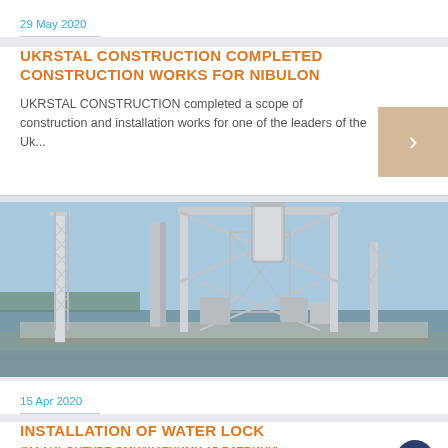29 May 2020
UKRSTAL CONSTRUCTION COMPLETED CONSTRUCTION WORKS FOR NIBULON
UKRSTAL CONSTRUCTION completed a scope of construction and installation works for one of the leaders of the Uk...
[Figure (photo): Industrial construction site showing a large white metal structure/silo elevator tower under blue sky with trees in background]
15 Apr 2020
INSTALLATION OF WATER LOCK (МААНЬОНТУРЕ ОМИ/ЖАТНИМИ 15 БАТВИЧУ)